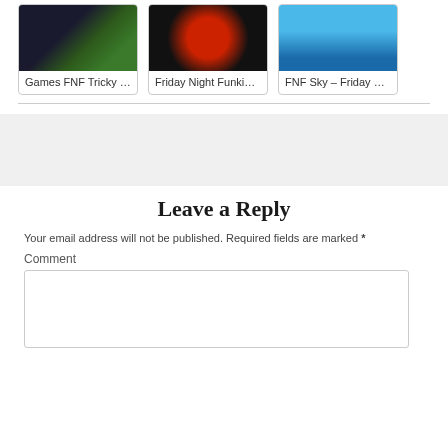[Figure (screenshot): Card thumbnail for Games FNF Tricky – dark background with green character]
Games FNF Tricky –...
[Figure (screenshot): Card thumbnail for Friday Night Funkin – dark background with orange/red circular element]
Friday Night Funkin ...
[Figure (screenshot): Card thumbnail for FNF Sky – blue sky background with character]
FNF Sky – Friday Ni...
Leave a Reply
Your email address will not be published. Required fields are marked *
Comment